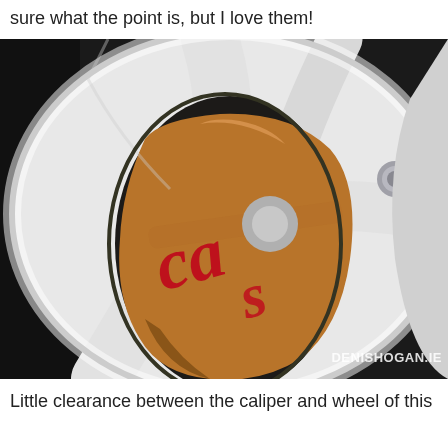sure what the point is, but I love them!
[Figure (photo): Close-up photo of a car wheel (white alloy rim) showing a brown/copper brake caliper with red script lettering visible through the wheel spokes. Blue lug nut cap visible on right. Watermark reads DENISHOGAN.IE]
Little clearance between the caliper and wheel of this